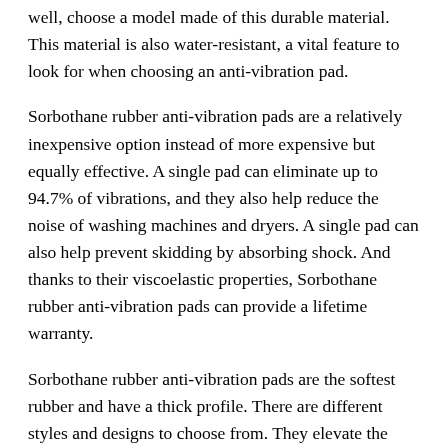well, choose a model made of this durable material. This material is also water-resistant, a vital feature to look for when choosing an anti-vibration pad.
Sorbothane rubber anti-vibration pads are a relatively inexpensive option instead of more expensive but equally effective. A single pad can eliminate up to 94.7% of vibrations, and they also help reduce the noise of washing machines and dryers. A single pad can also help prevent skidding by absorbing shock. And thanks to their viscoelastic properties, Sorbothane rubber anti-vibration pads can provide a lifetime warranty.
Sorbothane rubber anti-vibration pads are the softest rubber and have a thick profile. There are different styles and designs to choose from. They elevate the machinery and provide a good grip. These anti-vibration pads are the best option for reducing noise from washers and dryers. A thicker pad is more effective at dampening vibrations, but it's more expensive than soft rubber.